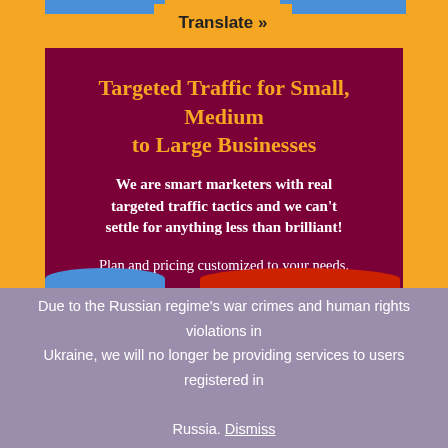Translate »
Targeted Traffic for Small, Medium to Large Businesses
We are smart marketers with real targeted traffic tactics and we can't settle for anything less than brilliant!
Plan and pricing customized to your needs. Over 1000s of companies trust us to drive sales. We offer the best targeted traffic service that actually works! From home services contractors to eCommerce store owners, we've helped thousands of organizations earn
Due to the Russian regime's war crimes and human rights violations in Ukraine, we will no longer be providing services to users registered in Russia. Dismiss